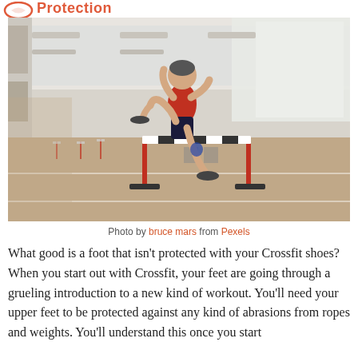Protection
[Figure (photo): An athlete in a red tank top and dark shorts jumping over a hurdle on an indoor athletic track. The athlete is mid-stride, with one leg raised high over the white and red hurdle. The background shows the indoor track facility with large windows and more hurdles in the distance.]
Photo by bruce mars from Pexels
What good is a foot that isn't protected with your Crossfit shoes? When you start out with Crossfit, your feet are going through a grueling introduction to a new kind of workout. You'll need your upper feet to be protected against any kind of abrasions from ropes and weights. You'll understand this once you start